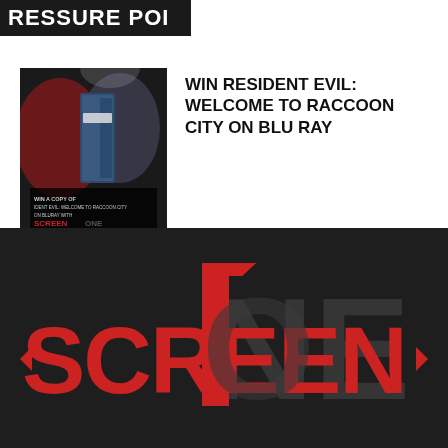RESSURE POI
[Figure (photo): Thumbnail image for Win Resident Evil: Welcome to Raccoon City on Blu Ray competition, showing Blu-ray case with Screen One branding overlay]
WIN RESIDENT EVIL: WELCOME TO RACCOON CITY ON BLU RAY
[Figure (logo): Screen One logo — SCREEN in red bold letters, ONE with a large red 1 replacing the O, on dark background, with left and right arrow brackets in red flanking the text]